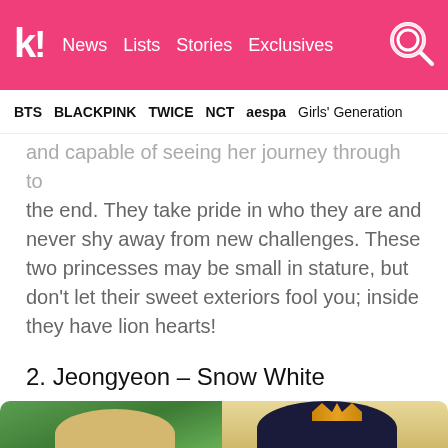k! News  Lists  Stories  Exclusives
BTS  BLACKPINK  TWICE  NCT  aespa  Girls' Generation
and capable of seeing her journey through to the end. They take pride in who they are and never shy away from new challenges. These two princesses may be small in stature, but don't let their sweet exteriors fool you; inside they have lion hearts!
2. Jeongyeon – Snow White
[Figure (photo): Side-by-side photo of Jeongyeon (TWICE member, blonde hair, smiling, green leafy background) and Snow White (Disney animated princess with dark hair, crown, light skin)]